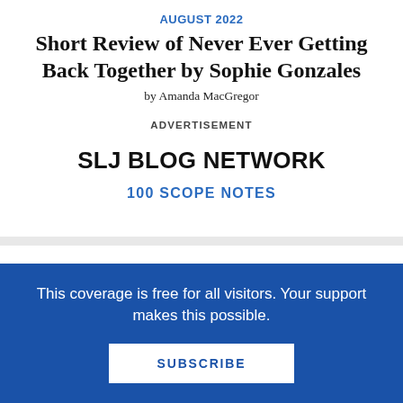AUGUST 2022
Short Review of Never Ever Getting Back Together by Sophie Gonzales
by Amanda MacGregor
ADVERTISEMENT
SLJ BLOG NETWORK
100 SCOPE NOTES
This coverage is free for all visitors. Your support makes this possible.
SUBSCRIBE